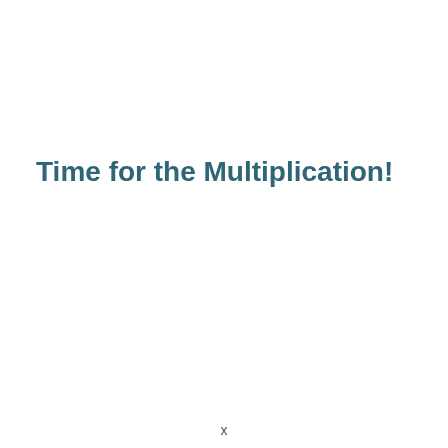Time for the Multiplication!
x